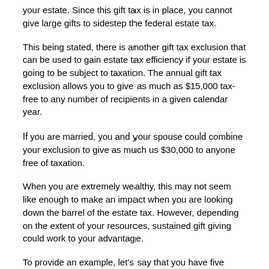your estate. Since this gift tax is in place, you cannot give large gifts to sidestep the federal estate tax.
This being stated, there is another gift tax exclusion that can be used to gain estate tax efficiency if your estate is going to be subject to taxation. The annual gift tax exclusion allows you to give as much as $15,000 tax-free to any number of recipients in a given calendar year.
If you are married, you and your spouse could combine your exclusion to give as much us $30,000 to anyone free of taxation.
When you are extremely wealthy, this may not seem like enough to make an impact when you are looking down the barrel of the estate tax. However, depending on the extent of your resources, sustained gift giving could work to your advantage.
To provide an example, let’s say that you have five married children. You and your spouse could give $30,000 to each husband and each wife every year. This would result in annual tax-free transfers equaling $300,000.